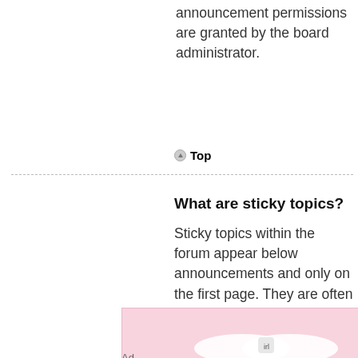announcement permissions are granted by the board administrator.
Top
What are sticky topics?
Sticky topics within the forum appear below announcements and only on the first page. They are often quite important so you should read them whenever possible. As with announcements and global
[Figure (other): Advertisement banner: IRL - Do More Together app. Pink background with illustrated cartoon characters, text 'Make Friends, Create Experiences']
Ad